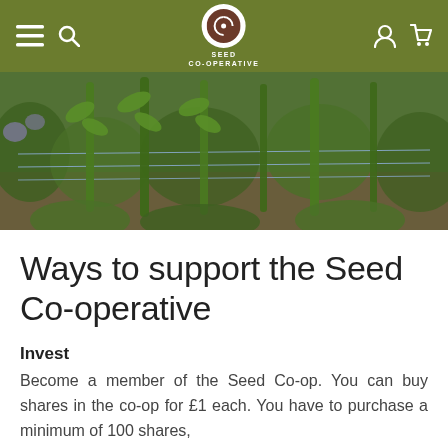Seed Co-operative navigation bar with menu, search, logo, account and cart icons
[Figure (photo): Close-up photograph of tall green plant stems growing in a garden, supported by wire lines strung horizontally across posts, with green foliage and reddish-brown soil visible in the background.]
Ways to support the Seed Co-operative
Invest
Become a member of the Seed Co-op. You can buy shares in the co-op for £1 each. You have to purchase a minimum of 100 shares,